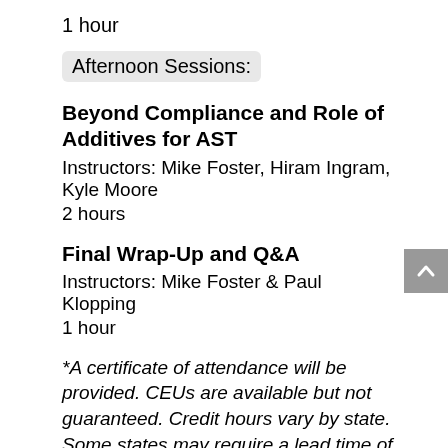1 hour
Afternoon Sessions:
Beyond Compliance and Role of Additives for AST
Instructors: Mike Foster, Hiram Ingram, Kyle Moore
2 hours
Final Wrap-Up and Q&A
Instructors: Mike Foster & Paul Klopping
1 hour
*A certificate of attendance will be provided. CEUs are available but not guaranteed. Credit hours vary by state. Some states may require a lead time of 4 weeks.